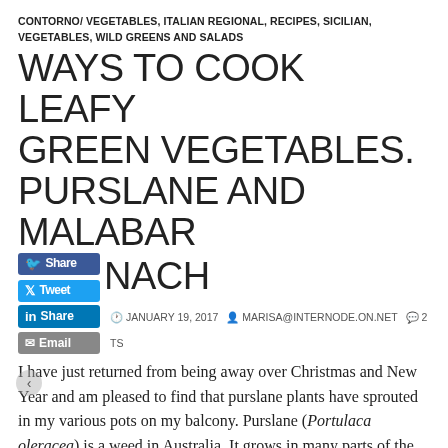CONTORNO/ VEGETABLES, ITALIAN REGIONAL, RECIPES, SICILIAN, VEGETABLES, WILD GREENS AND SALADS
WAYS TO COOK LEAFY GREEN VEGETABLES. PURSLANE AND MALABAR SPINACH
JANUARY 19, 2017   MARISA@INTERNODE.ON.NET   2
COMMENTS
I have just returned from being away over Christmas and New Year and am pleased to find that purslane plants have sprouted in my various pots on my balcony. Purslane (Portulaca oleracea) is a weed in Australia. It grows in many parts of the world including southern Italy and is very much appreciated in various cuisines especially in The Middle East, Greece, Crete and Mexico.